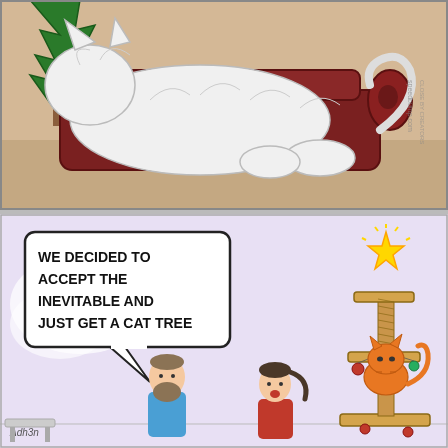[Figure (illustration): Top comic panel: A large fluffy white cat lies stretched across a dark red/maroon sofa. A Christmas tree with green zigzag branches is visible in the upper left. The cat appears to have knocked something over or is sprawled destructively across the couch. Watermark reads 'speedbump.com' / 'CLOSE BY CREATORS'. Black ink comic art style.]
[Figure (illustration): Bottom comic panel on light purple/lavender background: Speech bubble from off-panel reads 'WE DECIDED TO ACCEPT THE INEVITABLE AND JUST GET A CAT TREE'. A bearded man in a blue shirt and a woman with a ponytail in a red top stand looking at a cat tree (scratching post tower with platforms and dangling ornaments). An orange cat sits on the cat tree which is decorated with a star on top like a Christmas tree. Artist signature bottom left.]